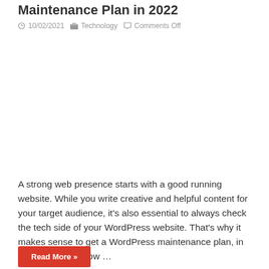Maintenance Plan in 2022
10/02/2021   Technology   Comments Off
A strong web presence starts with a good running website. While you write creative and helpful content for your target audience, it’s also essential to always check the tech side of your WordPress website. That’s why it makes sense to get a WordPress maintenance plan, in which you can grow …
Read More »